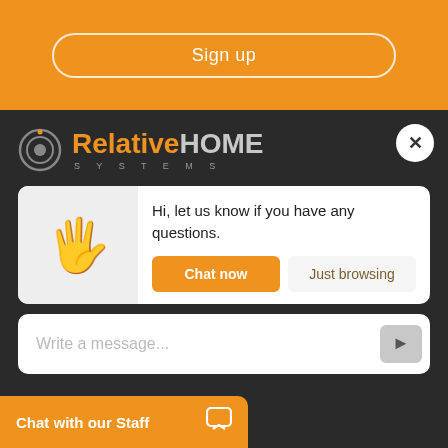Sign up
[Figure (logo): RelativeHome Systems logo with circular icon and orange/gray text]
Hi, let us know if you have any questions.
Chat now
Just browsing
Write a message...
Chat with our Staff